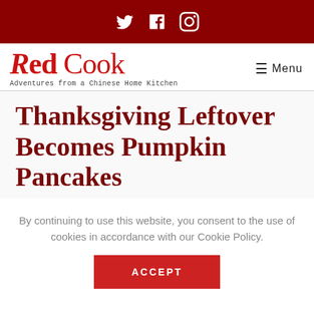Twitter Facebook Instagram (social media icons)
[Figure (logo): Red Cook logo with text 'Red Cook' in red serif font and tagline 'Adventures from a Chinese Home Kitchen']
≡ Menu
Thanksgiving Leftover Becomes Pumpkin Pancakes
By continuing to use this website, you consent to the use of cookies in accordance with our Cookie Policy.
ACCEPT